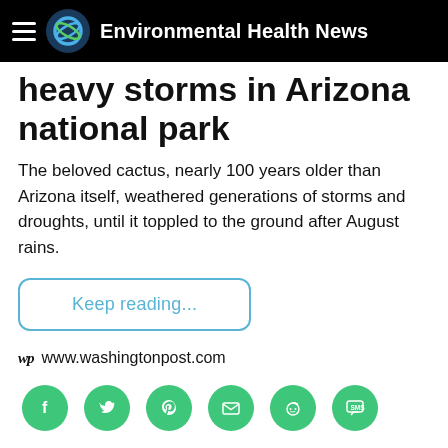Environmental Health News
heavy storms in Arizona national park
The beloved cactus, nearly 100 years older than Arizona itself, weathered generations of storms and droughts, until it toppled to the ground after August rains.
Keep reading...
www.washingtonpost.com
[Figure (infographic): Social share buttons: Facebook, Twitter, Pinterest, Email, Reddit, SMS — green circles with white icons]